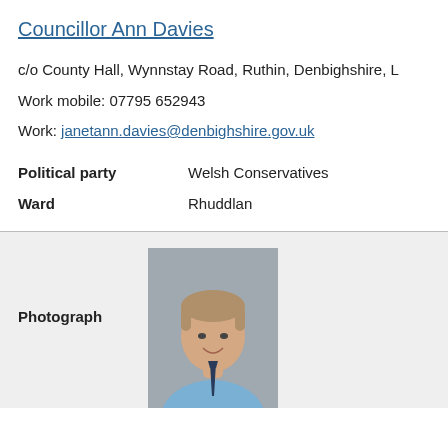Councillor Ann Davies
c/o County Hall, Wynnstay Road, Ruthin, Denbighshire, L
Work mobile: 07795 652943
Work: janetann.davies@denbighshire.gov.uk
| Field | Value |
| --- | --- |
| Political party | Welsh Conservatives |
| Ward | Rhuddlan |
Photograph
[Figure (photo): Portrait photograph of a middle-aged man with grey-brown hair, wearing a light blue shirt and dark tie, with a grey background.]